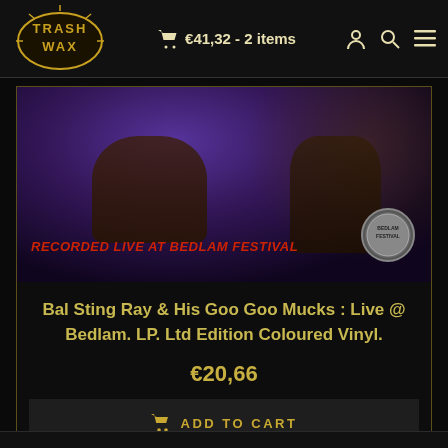€41,32 - 2 items
[Figure (photo): Album cover photo showing two musicians performing live on stage under purple lighting, with text 'RECORDED LIVE AT BEDLAM FESTIVAL' overlaid in red at the bottom left, and a Bedlam Festival logo at bottom right]
Bal Sting Ray & His Goo Goo Mucks : Live @ Bedlam. LP. Ltd Edition Coloured Vinyl.
€20,66
ADD TO CART